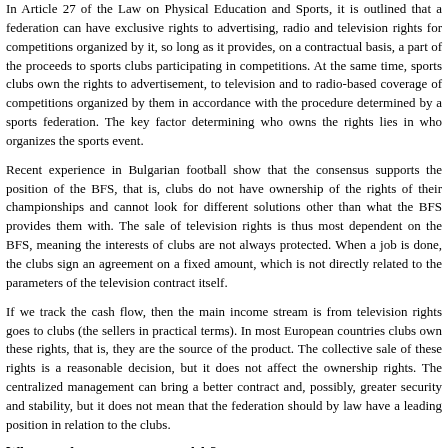In Article 27 of the Law on Physical Education and Sports, it is outlined that a federation can have exclusive rights to advertising, radio and television rights for competitions organized by it, so long as it provides, on a contractual basis, a part of the proceeds to sports clubs participating in competitions. At the same time, sports clubs own the rights to advertisement, to television and to radio-based coverage of competitions organized by them in accordance with the procedure determined by a sports federation. The key factor determining who owns the rights lies in who organizes the sports event.
Recent experience in Bulgarian football show that the consensus supports the position of the BFS, that is, clubs do not have ownership of the rights of their championships and cannot look for different solutions other than what the BFS provides them with. The sale of television rights is thus most dependent on the BFS, meaning the interests of clubs are not always protected. When a job is done, the clubs sign an agreement on a fixed amount, which is not directly related to the parameters of the television contract itself.
If we track the cash flow, then the main income stream is from television rights goes to clubs (the sellers in practical terms). In most European countries clubs own these rights, that is, they are the source of the product. The collective sale of these rights is a reasonable decision, but it does not affect the ownership rights. The centralized management can bring a better contract and, possibly, greater security and stability, but it does not mean that the federation should by law have a leading position in relation to the clubs.
What are the management models?
The trade of TV rights in football relies on two main models. The first model is each club sells the rights to its home matches, and in some cases sharing the proceeds with the guest team. The second one has all the teams in the respective race / League combining their efforts and selling the rights together - usually through the organization of the clubs themselves or the federation. European championships also similar to the second model, that is the rights are sold